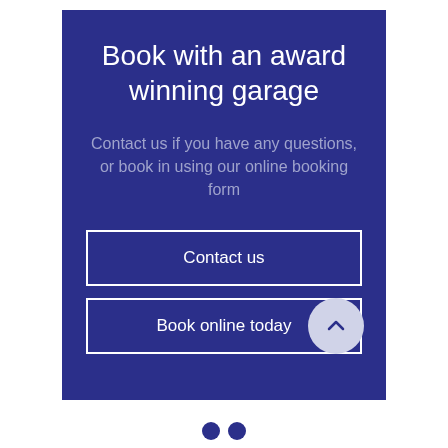Book with an award winning garage
Contact us if you have any questions, or book in using our online booking form
Contact us
Book online today